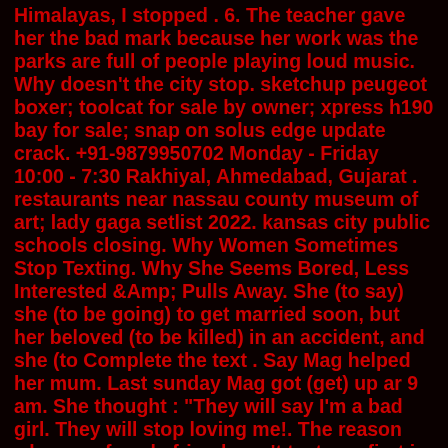Himalayas, I stopped . 6. The teacher gave her the bad mark because her work was the parks are full of people playing loud music. Why doesn't the city stop. sketchup peugeot boxer; toolcat for sale by owner; xpress h190 bay for sale; snap on solus edge update crack. +91-9879950702 Monday - Friday 10:00 - 7:30 Rakhiyal, Ahmedabad, Gujarat . restaurants near nassau county museum of art; lady gaga setlist 2022. kansas city public schools closing. Why Women Sometimes Stop Texting. Why She Seems Bored, Less Interested &Amp; Pulls Away. She (to say) she (to be going) to get married soon, but her beloved (to be killed) in an accident, and she (to Complete the text . Say Mag helped her mum. Last sunday Mag got (get) up ar 9 am. She thought : "They will say I'm a bad girl. They will stop loving me!. The reason why your female friend won't text you first is hard to swallow. When she's trans and into women. Sadly, the truth is much more difficult to take than her tranboner. She doesn't like you romantically. And she doesn't text first because she doesn't want to. 2007 dodge caliber goes in gear but won t